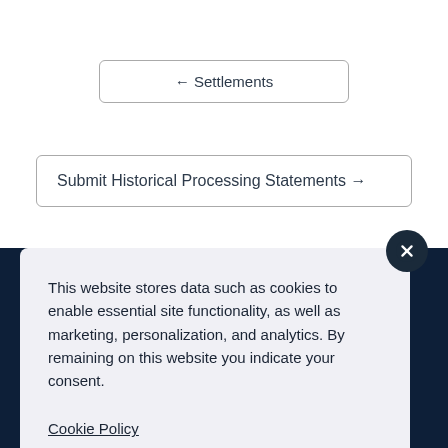← Settlements
Submit Historical Processing Statements →
This website stores data such as cookies to enable essential site functionality, as well as marketing, personalization, and analytics. By remaining on this website you indicate your consent.
Cookie Policy